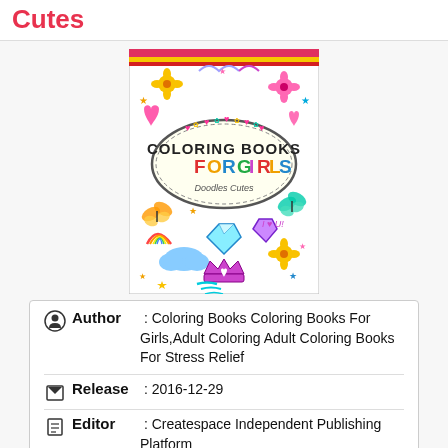Cutes
[Figure (photo): Book cover of 'Coloring Books For Girls' by Doodles Cutes, featuring colorful doodles of flowers, butterflies, diamonds, rainbows, hearts, and a crown on a white background with a pink/yellow/red striped top border.]
Author : Coloring Books Coloring Books For Girls,Adult Coloring Adult Coloring Books For Stress Relief
Release : 2016-12-29
Editor : Createspace Independent Publishing Platform